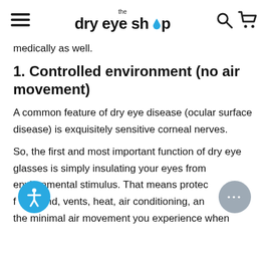the dry eye shop
medically as well.
1. Controlled environment (no air movement)
A common feature of dry eye disease (ocular surface disease) is exquisitely sensitive corneal nerves.
So, the first and most important function of dry eye glasses is simply insulating your eyes from environmental stimulus. That means protecting from wind, vents, heat, air conditioning, and even the minimal air movement you experience when